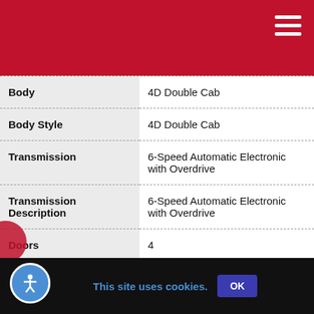| Property | Value |
| --- | --- |
| Body | 4D Double Cab |
| Body Style | 4D Double Cab |
| Transmission | 6-Speed Automatic Electronic with Overdrive |
| Transmission Description | 6-Speed Automatic Electronic with Overdrive |
| Doors | 4 |
| Cylinders | 8 |
This site uses cookies. OK